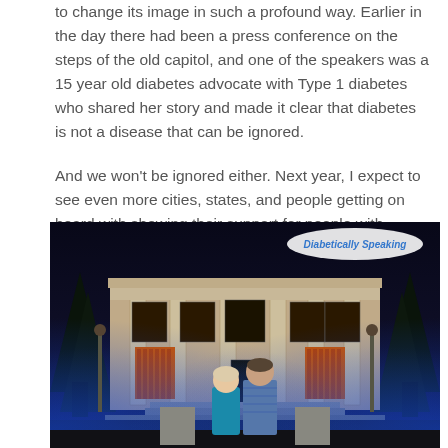to change its image in such a profound way. Earlier in the day there had been a press conference on the steps of the old capitol, and one of the speakers was a 15 year old diabetes advocate with Type 1 diabetes who shared her story and made it clear that diabetes is not a disease that can be ignored.
And we won't be ignored either. Next year, I expect to see even more cities, states, and people getting on board with showing their support for people with diabetes on World Diabetes Day…and every day.
[Figure (photo): Nighttime photo of a neoclassical building (old capitol) lit up with blue uplighting for World Diabetes Day. Two people (a woman in teal and a man in a plaid shirt) stand in front of the steps. A watermark reads 'Diabetically Speaking' in an oval bubble.]